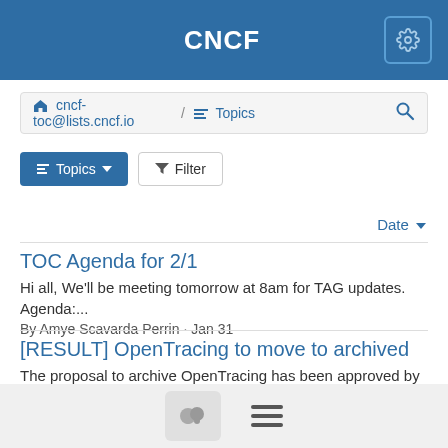CNCF
cncf-toc@lists.cncf.io / Topics
Topics  Filter
Date
TOC Agenda for 2/1
Hi all, We'll be meeting tomorrow at 8am for TAG updates. Agenda:...
By Amye Scavarda Perrin · Jan 31
[RESULT] OpenTracing to move to archived
The proposal to archive OpenTracing has been approved by the TOC: https://lists.cncf.io/g/cncf-toc/message/6141 8/11 Alena...
By Amye Scavarda Perrin · Jan 31